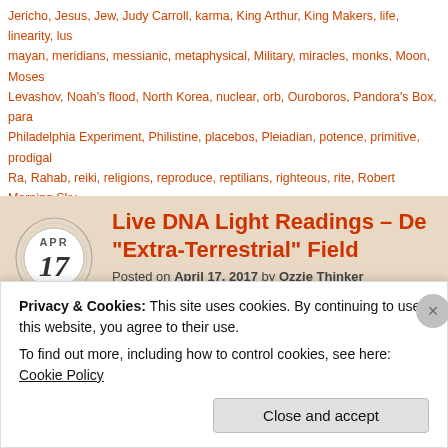Jericho, Jesus, Jew, Judy Carroll, karma, King Arthur, King Makers, life, linearity, lus mayan, meridians, messianic, metaphysical, Military, miracles, monks, Moon, Moses Levashov, Noah's flood, North Korea, nuclear, orb, Ouroboros, Pandora's Box, para Philadelphia Experiment, Philistine, placebos, Pleiadian, potence, primitive, prodigal Ra, Rahab, reiki, religions, reproduce, reptilians, righteous, rite, Robert Morning Sky Sanhedrin, Sanni Ceto, sasar, Satan, satanic, Saturn, sciences, Scripture, Sephardi slavery, socialism, sol, solar flares, Sophia, sovereignty, spirituality, stars, sun, super Telepathy, Terra Papers, The Beauty of Existence Decoded, theological, thought pat strand DNA, tyrannies, unmoved movers, vagabond, Vedas, Vedic texts, Waco, wea worship, zeus, zombies | 9 Comments
[Figure (other): Calendar icon showing APR 17 with circular decorative rings]
Live DNA Light Readings – De "Extra-Terrestrial" Field
Posted on April 17, 2017 by Ozzie Thinker
Privacy & Cookies: This site uses cookies. By continuing to use this website, you agree to their use. To find out more, including how to control cookies, see here: Cookie Policy